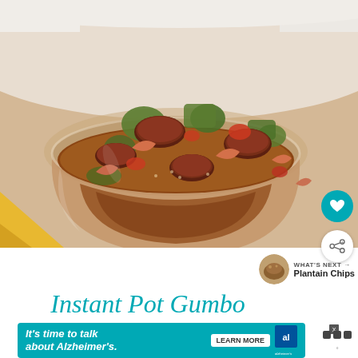[Figure (photo): Close-up photo of a glass bowl filled with gumbo containing shrimp, sliced sausage, okra, tomatoes, and other vegetables in a thick brown broth, with a heart/like button and share button overlaid on the right side.]
WHAT'S NEXT → Plantain Chips
Instant Pot Gumbo
[Figure (infographic): Advertisement banner: It's time to talk about Alzheimer's. LEARN MORE. Alzheimer's Association logo with close button.]